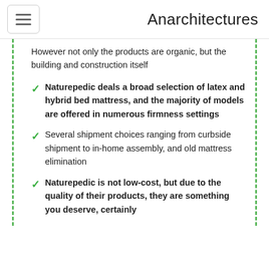Anarchitectures
However not only the products are organic, but the building and construction itself
Naturepedic deals a broad selection of latex and hybrid bed mattress, and the majority of models are offered in numerous firmness settings
Several shipment choices ranging from curbside shipment to in-home assembly, and old mattress elimination
Naturepedic is not low-cost, but due to the quality of their products, they are something you deserve, certainly